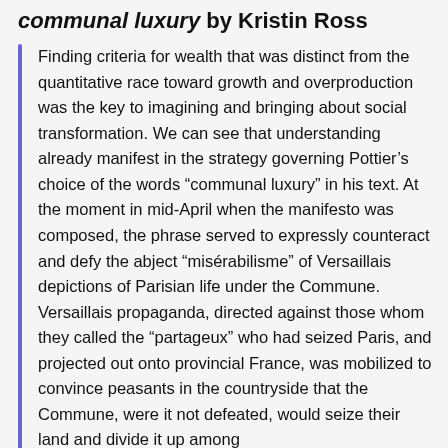communal luxury by Kristin Ross
Finding criteria for wealth that was distinct from the quantitative race toward growth and overproduction was the key to imagining and bringing about social transformation. We can see that understanding already manifest in the strategy governing Pottier’s choice of the words “communal luxury” in his text. At the moment in mid-April when the manifesto was composed, the phrase served to expressly counteract and defy the abject “misréabilisme” of Versaillais depictions of Parisian life under the Commune. Versaillais propaganda, directed against those whom they called the “partageux” who had seized Paris, and projected out onto provincial France, was mobilized to convince peasants in the countryside that the Commune, were it not defeated, would seize their land and divide it up among